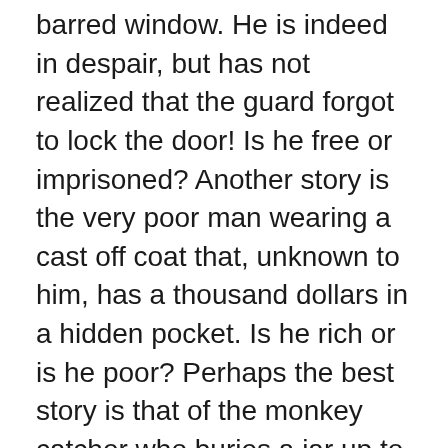barred window. He is indeed in despair, but has not realized that the guard forgot to lock the door! Is he free or imprisoned? Another story is the very poor man wearing a cast off coat that, unknown to him, has a thousand dollars in a hidden pocket. Is he rich or is he poor? Perhaps the best story is that of the monkey catcher who buries a jar up to its narrow neck and puts some peanuts in it. A monkey discovers it, puts his hand in the jar, grasps a handful of nuts but then is unable to pull his hand out. He struggles hard to no avail until the monkey catcher arrives to take him away. All the monkey had to do was let go of the peanuts and remove his hand but he did not understand that simple truth. Was the monkey truly trapped?

In all these cases the bondage is not real but is